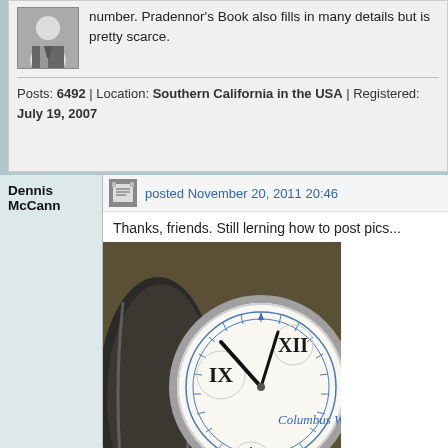number. Pradennor's Book also fills in many details but is pretty scarce.
Posts: 6492 | Location: Southern California in the USA | Registered: July 19, 2007
Dennis McCann
posted November 20, 2011 20:46
Thanks, friends. Still lerning how to post pics...
[Figure (photo): Close-up photograph of a Columbus Watch pocket watch showing the white enamel dial with Roman numerals and 'Columbus Wat[ch]' text in blue script, with a second subsidiary dial at the bottom.]